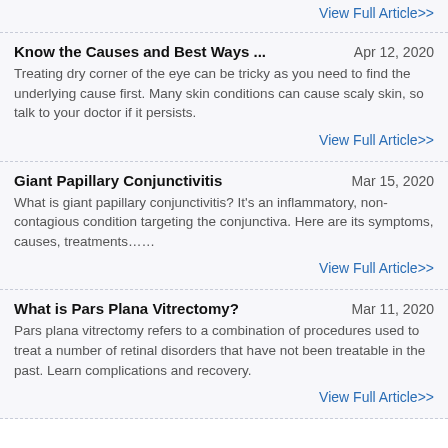View Full Article>>
Know the Causes and Best Ways ...
Apr 12, 2020
Treating dry corner of the eye can be tricky as you need to find the underlying cause first. Many skin conditions can cause scaly skin, so talk to your doctor if it persists.
View Full Article>>
Giant Papillary Conjunctivitis
Mar 15, 2020
What is giant papillary conjunctivitis? It's an inflammatory, non-contagious condition targeting the conjunctiva. Here are its symptoms, causes, treatments……
View Full Article>>
What is Pars Plana Vitrectomy?
Mar 11, 2020
Pars plana vitrectomy refers to a combination of procedures used to treat a number of retinal disorders that have not been treatable in the past. Learn complications and recovery.
View Full Article>>